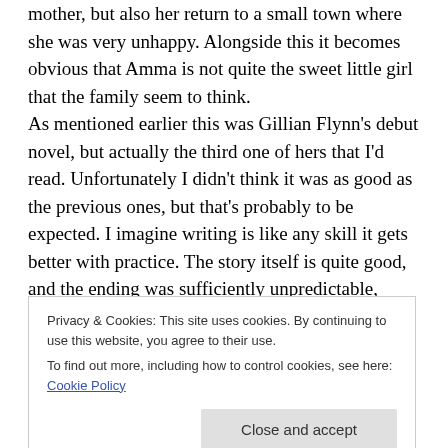mother, but also her return to a small town where she was very unhappy. Alongside this it becomes obvious that Amma is not quite the sweet little girl that the family seem to think.
As mentioned earlier this was Gillian Flynn's debut novel, but actually the third one of hers that I'd read. Unfortunately I didn't think it was as good as the previous ones, but that's probably to be expected. I imagine writing is like any skill it gets better with practice. The story itself is quite good, and the ending was sufficiently unpredictable,
Privacy & Cookies: This site uses cookies. By continuing to use this website, you agree to their use.
To find out more, including how to control cookies, see here: Cookie Policy
surrounding a small community. You could imagine how